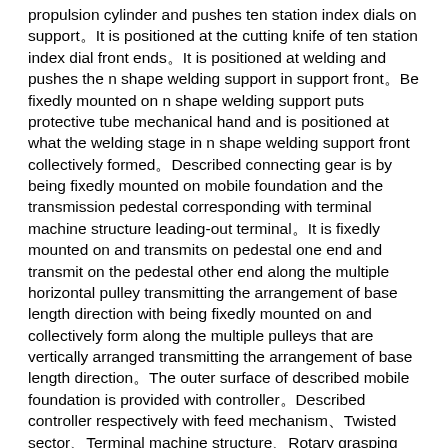propulsion cylinder and pushes ten station index dials on support。It is positioned at the cutting knife of ten station index dial front ends。It is positioned at welding and pushes the n shape welding support in support front。Be fixedly mounted on n shape welding support puts protective tube mechanical hand and is positioned at what the welding stage in n shape welding support front collectively formed。Described connecting gear is by being fixedly mounted on mobile foundation and the transmission pedestal corresponding with terminal machine structure leading-out terminal。It is fixedly mounted on and transmits on pedestal one end and transmit on the pedestal other end along the multiple horizontal pulley transmitting the arrangement of base length direction with being fixedly mounted on and collectively form along the multiple pulleys that are vertically arranged transmitting the arrangement of base length direction。The outer surface of described mobile foundation is provided with controller。Described controller respectively with feed mechanism、Twisted sector、Terminal machine structure、Rotary grasping mechanism and welding mechanism electrical connection.
Described travel mechanism by be fixedly mounted on